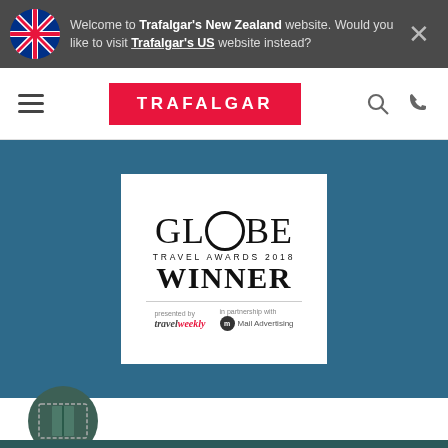Welcome to Trafalgar's New Zealand website. Would you like to visit Trafalgar's US website instead?
[Figure (logo): Trafalgar logo in red rectangle, navigation bar with hamburger menu, search and phone icons]
[Figure (illustration): Blue background hero section containing Globe Travel Awards 2018 Winner award badge on white card, with travelweekly and Mail Advertising logos]
[Figure (illustration): Film/brochure icon in dark teal circle at bottom left]